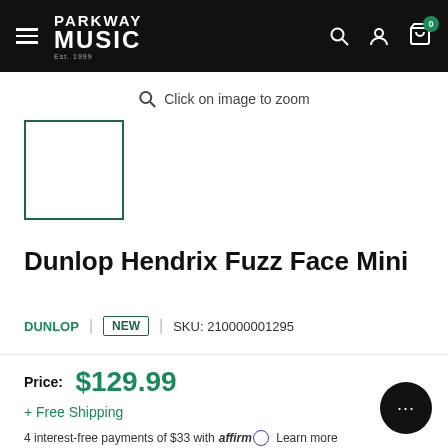Parkway Music — navigation bar with logo, search, account, and cart (0 items)
Click on image to zoom
[Figure (photo): Product thumbnail placeholder box with teal border]
Dunlop Hendrix Fuzz Face Mini
DUNLOP | NEW | SKU: 210000001295
Price: $129.99 + Free Shipping
4 interest-free payments of $33 with affirm Learn more